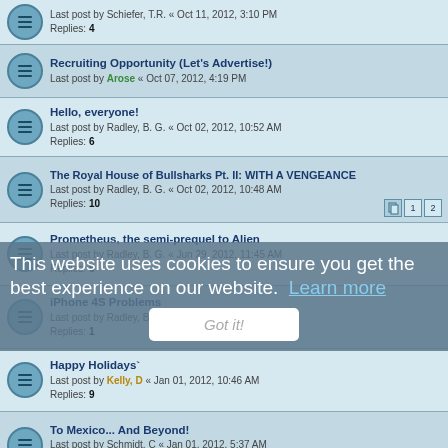Last post by Schiefer, T.R. « Oct 11, 2012, 3:10 PM
Replies: 4
Recruiting Opportunity (Let's Advertise!)
Last post by Arose « Oct 07, 2012, 4:19 PM
Hello, everyone!
Last post by Radley, B. G. « Oct 02, 2012, 10:52 AM
Replies: 6
The Royal House of Bullsharks Pt. II: WITH A VENGEANCE
Last post by Radley, B. G. « Oct 02, 2012, 10:48 AM
Replies: 10
Prometheus, the semi-prequel to Alien
Last post by Radley, B. G. « Jun 29, 2012, 11:45 AM
Replies: 6
iPhone 4S Problems
Last post by Radley, B. G. « Jan 11, 2012, 10:19 PM
Replies: 1
Happy Holidays`
Last post by Kelly, D « Jan 01, 2012, 10:46 AM
Replies: 9
To Mexico... And Beyond!
Last post by Schmidt, C « Jan 01, 2012, 5:37 AM
Replies: 12
Kim Jong II dead
Last post by Radley, B. G. « Dec 20, 2011, 3:59 PM
Replies: 6
What Security Forces really do at work =NO RODENTS ARE
This website uses cookies to ensure you get the best experience on our website. Learn more
Got it!